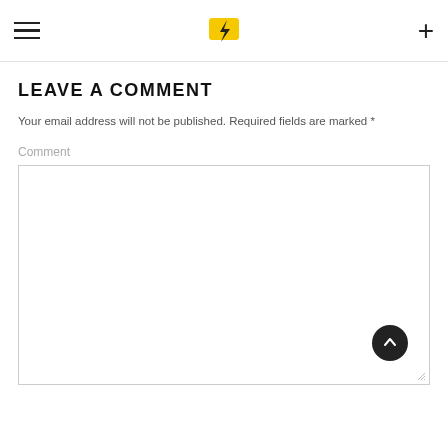Navigation header with hamburger menu, logo, and plus icon
LEAVE A COMMENT
Your email address will not be published. Required fields are marked *
Comment
[Figure (other): Large empty comment textarea input box with resize handle]